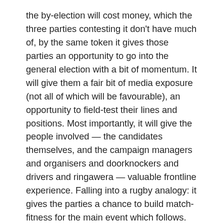the by-election will cost money, which the three parties contesting it don't have much of, by the same token it gives those parties an opportunity to go into the general election with a bit of momentum. It will give them a fair bit of media exposure (not all of which will be favourable), an opportunity to field-test their lines and positions. Most importantly, it will give the people involved — the candidates themselves, and the campaign managers and organisers and doorknockers and drivers and ringawera — valuable frontline experience. Falling into a rugby analogy: it gives the parties a chance to build match-fitness for the main event which follows.
Finally, I think the best outcome for both Labour and Te Mana here is the one Morgan has persuasively argued is most likely — for Hone Harawira to beat Kelvin Davis by a slim margin. Davis is a strong MP, if inexperienced, and although marginally placed at 33 on the list, should get in at the general election if Labour can at least maintain their polling. A tight contest will light a fire under both parties.